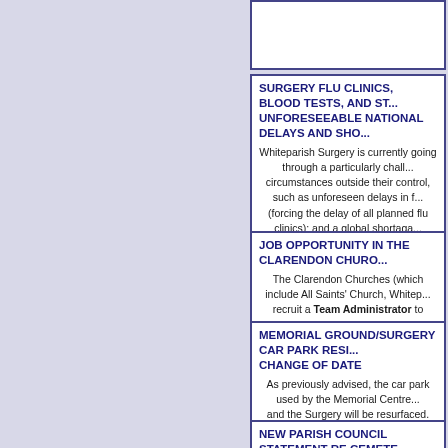SURGERY FLU CLINICS, BLOOD TESTS, AND ST... UNFORESEEABLE NATIONAL DELAYS AND SHO...
Whiteparish Surgery is currently going through a particularly chall... circumstances outside their control, such as unforeseen delays in f... (forcing the delay of all planned flu clinics); and a global shortaga... equipment (restricting the number of blood tests that can be done... members have recently tested positive for Covid-19 and have bee... themselves. For more details, see the Surgery Website and/or it...
JOB OPPORTUNITY IN THE CLARENDON CHURO...
The Clarendon Churches (which include All Saints' Church, Whitep... recruit a Team Administrator to support the ministry team. For r... here.
MEMORIAL GROUND/SURGERY CAR PARK RESI... CHANGE OF DATE
As previously advised, the car park used by the Memorial Centre... and the Surgery will be resurfaced. The contractor has now advis... begin work on WEDNESDAY 25th AUGUST 2021, and it is anticip... will take five to ten days to complete. For more details, c...
NEW PARISH COUNCIL STATEMENT RE CEMETE...
The Parish Council have issued an update to previous statements...